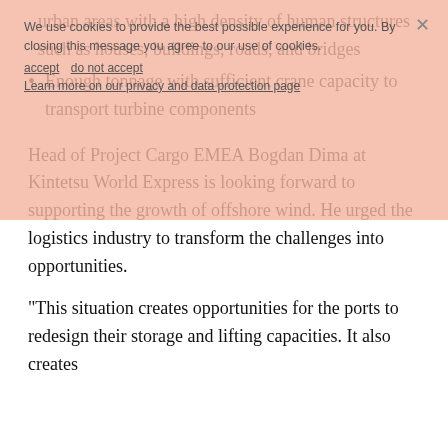urban areas with a high density of human structures such as houses, buildings, roads, and bridges
Enough tonnage with sufficient crane capacity to transport turbine components
Head of Project Cargo EMEA Bogdan Dima at Kintetsu World Express is looking forward to supporting the growth of offshore wind. He urged the logistics industry to transform the challenges into opportunities.
“This situation creates opportunities for the ports to redesign their storage and lifting capacities. It also creates